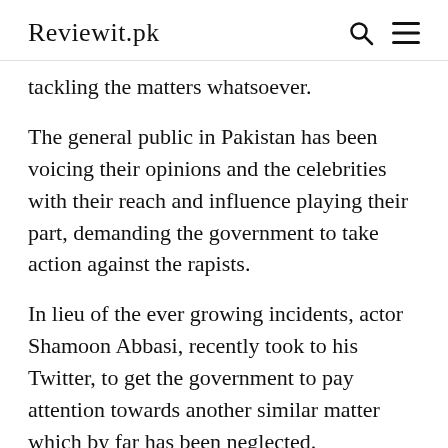Reviewit.pk
tackling the matters whatsoever.
The general public in Pakistan has been voicing their opinions and the celebrities with their reach and influence playing their part, demanding the government to take action against the rapists.
In lieu of the ever growing incidents, actor Shamoon Abbasi, recently took to his Twitter, to get the government to pay attention towards another similar matter which by far has been neglected.